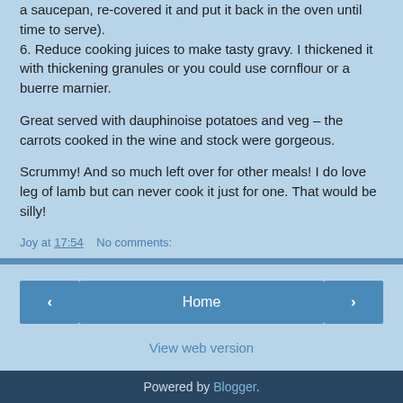a saucepan, re-covered it and put it back in the oven until time to serve).
6. Reduce cooking juices to make tasty gravy. I thickened it with thickening granules or you could use cornflour or a buerre marnier.
Great served with dauphinoise potatoes and veg – the carrots cooked in the wine and stock were gorgeous.
Scrummy!  And so much left over for other meals!  I do love leg of lamb but can never cook it just for one.  That would be silly!
Joy at 17:54    No comments:
[Figure (other): Navigation bar with previous arrow button, Home button, and next arrow button]
View web version
Powered by Blogger.